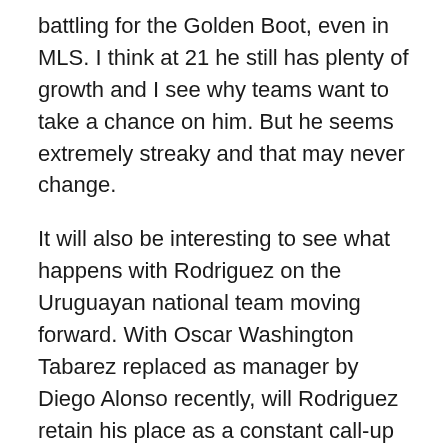battling for the Golden Boot, even in MLS. I think at 21 he still has plenty of growth and I see why teams want to take a chance on him. But he seems extremely streaky and that may never change.
It will also be interesting to see what happens with Rodriguez on the Uruguayan national team moving forward. With Oscar Washington Tabarez replaced as manager by Diego Alonso recently, will Rodriguez retain his place as a constant call-up and playing for his country more often than not? I would not be shocked if Alonso shakes things up and makes Rodriguez work a little harder for the selections. Conversely, Rodriguez could benefit if Alonso wants to move some of the (old) legends on, we'll see.